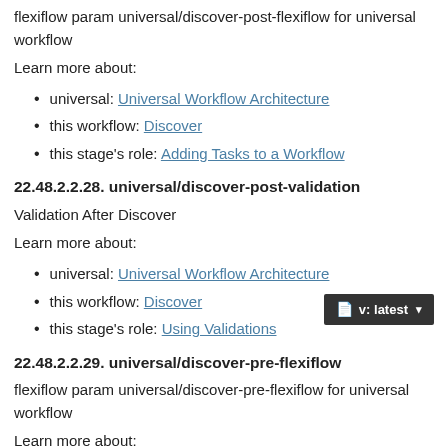flexiflow param universal/discover-post-flexiflow for universal workflow
Learn more about:
universal: Universal Workflow Architecture
this workflow: Discover
this stage's role: Adding Tasks to a Workflow
22.48.2.2.28. universal/discover-post-validation
Validation After Discover
Learn more about:
universal: Universal Workflow Architecture
this workflow: Discover
this stage's role: Using Validations
22.48.2.2.29. universal/discover-pre-flexiflow
flexiflow param universal/discover-pre-flexiflow for universal workflow
Learn more about: